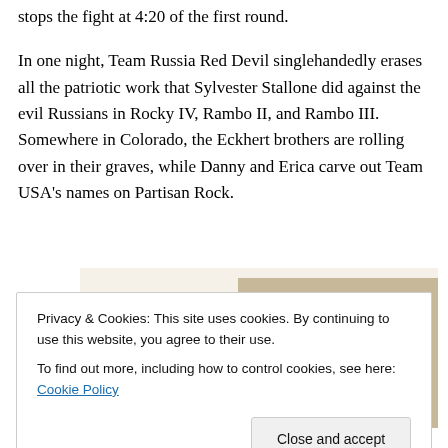stops the fight at 4:20 of the first round.
In one night, Team Russia Red Devil singlehandedly erases all the patriotic work that Sylvester Stallone did against the evil Russians in Rocky IV, Rambo II, and Rambo III.  Somewhere in Colorado, the Eckhert brothers are rolling over in their graves, while Danny and Erica carve out Team USA's names on Partisan Rock.
[Figure (other): Advertisement image showing a green 'Explore options' button on a beige background with food/meal photos on the right side.]
Privacy & Cookies: This site uses cookies. By continuing to use this website, you agree to their use.
To find out more, including how to control cookies, see here: Cookie Policy
Close and accept